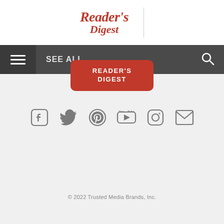[Figure (logo): Reader's Digest logo in red serif font]
[Figure (screenshot): Navigation bar with hamburger menu, SEE ALL text, and search icon on dark gray background]
[Figure (logo): Red rounded button with READER'S DIGEST text in white]
[Figure (infographic): Row of social media icons: Facebook, Twitter, Pinterest, YouTube, Instagram, Email in gray]
© 2022 Trusted Media Brands, Inc.